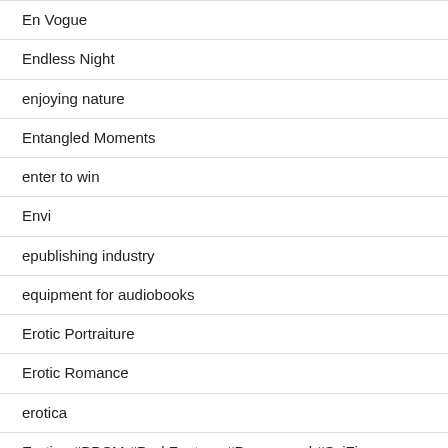En Vogue
Endless Night
enjoying nature
Entangled Moments
enter to win
Envi
epublishing industry
equipment for audiobooks
Erotic Portraiture
Erotic Romance
erotica
Erotica #BDSM #DarkFantasy #Paranormal #SciFi #DarkDesire #AgeGap #Gay @indigomarketingdesign
Erotica #Fantasy #DarkFantasy #KindleUnlimited #Paranormal